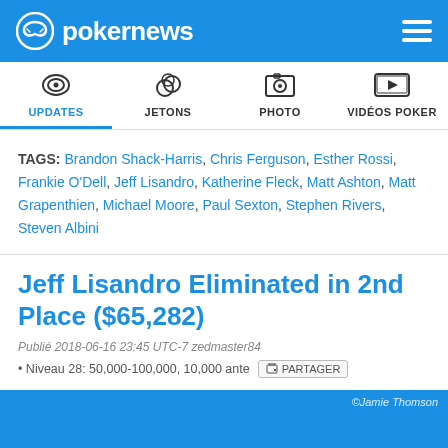pokernews
UPDATES | JETONS | PHOTO | VIDÉOS POKER
TAGS: Brandon Shack-Harris, Chris Ferguson, Esther Rossi, Frankie O'Dell, Jeff Lisandro, Katherine Fleck, Matt Ashton, Matt Grapenthien, Michael Moore, Paul Sexton, Stephen Rivers, Steven Albini
Jeff Lisandro Eliminated in 2nd Place ($65,282)
Publié 2018-06-16 23:45 UTC-7 zedmaster84
• Niveau 28: 50,000-100,000, 10,000 ante
[Figure (photo): Blue-tinted photo at bottom of page with copyright Jamie Thomson watermark]